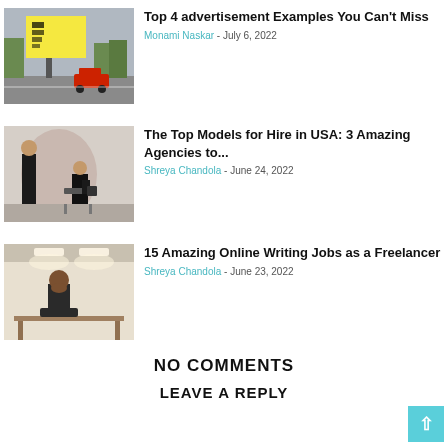[Figure (photo): Outdoor advertising billboard on a city street with a red car passing by]
Top 4 advertisement Examples You Can't Miss
Monami Naskar - July 6, 2022
[Figure (photo): Fashion model in black outfit seated on a chair against a light background]
The Top Models for Hire in USA: 3 Amazing Agencies to...
Shreya Chandola - June 24, 2022
[Figure (photo): Person working at a desk under ceiling lights, head bowed]
15 Amazing Online Writing Jobs as a Freelancer
Shreya Chandola - June 23, 2022
NO COMMENTS
LEAVE A REPLY